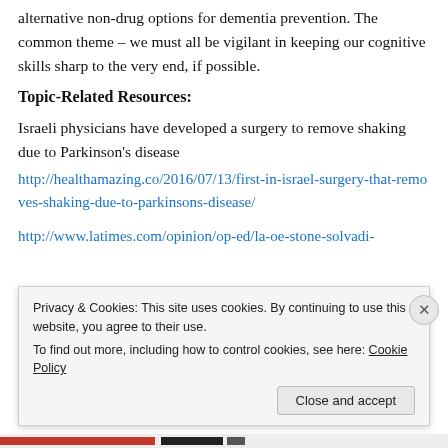alternative non-drug options for dementia prevention. The common theme – we must all be vigilant in keeping our cognitive skills sharp to the very end, if possible.
Topic-Related Resources:
Israeli physicians have developed a surgery to remove shaking due to Parkinson's disease
http://healthamazing.co/2016/07/13/first-in-israel-surgery-that-removes-shaking-due-to-parkinsons-disease/
http://www.latimes.com/opinion/op-ed/la-oe-stone-solvadi-
Privacy & Cookies: This site uses cookies. By continuing to use this website, you agree to their use.
To find out more, including how to control cookies, see here: Cookie Policy
Close and accept